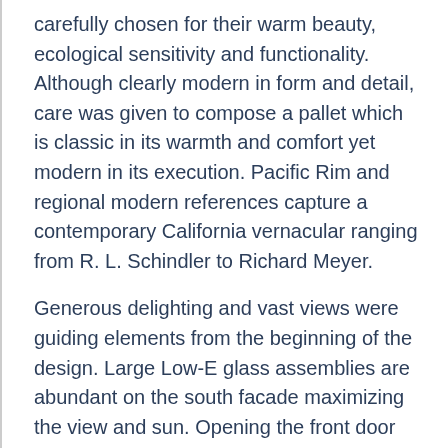carefully chosen for their warm beauty, ecological sensitivity and functionality. Although clearly modern in form and detail, care was given to compose a pallet which is classic in its warmth and comfort yet modern in its execution. Pacific Rim and regional modern references capture a contemporary California vernacular ranging from R. L. Schindler to Richard Meyer.
Generous delighting and vast views were guiding elements from the beginning of the design. Large Low-E glass assemblies are abundant on the south facade maximizing the view and sun. Opening the front door places you on the top floor, which includes kitchen, dining and living areas overlooking the Long Valley Caldera and White Mountains. Travertine and FSC certified Mahogany detail the interior to create warm durable spaces that combat the effects of harsh winters. Softly backlit mahogany paneling on the top floor enhances the view